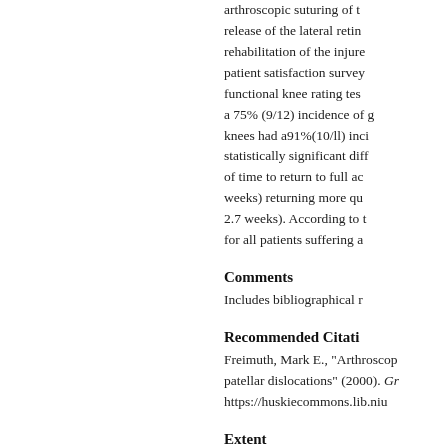arthroscopic suturing of the lateral retinaculum, release of the lateral retinaculum, and rehabilitation of the injured knee. The patient satisfaction survey, which included a functional knee rating test, demonstrated a 75% (9/12) incidence of good results. Lateral knees had a91%(10/ll) incidence. There was a statistically significant difference in the amount of time to return to full activity, with the lateral (8.7 weeks) returning more quickly than the medial (12.7 weeks). According to this study, surgery is beneficial for all patients suffering a
Comments
Includes bibliographical r
Recommended Citati
Freimuth, Mark E., "Arthroscop patellar dislocations" (2000). Gr https://huskiecommons.lib.niu
Extent
58 pages
Language